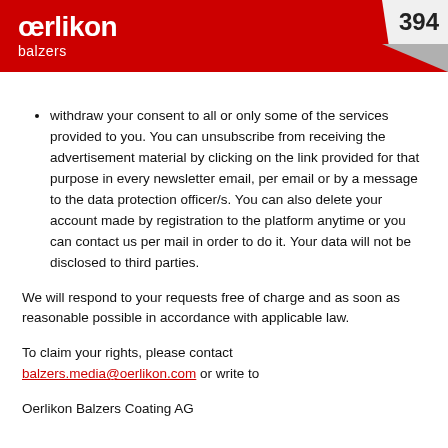oerlikon balzers — page 394
withdraw your consent to all or only some of the services provided to you. You can unsubscribe from receiving the advertisement material by clicking on the link provided for that purpose in every newsletter email, per email or by a message to the data protection officer/s. You can also delete your account made by registration to the platform anytime or you can contact us per mail in order to do it. Your data will not be disclosed to third parties.
We will respond to your requests free of charge and as soon as reasonable possible in accordance with applicable law.
To claim your rights, please contact balzers.media@oerlikon.com or write to
Oerlikon Balzers Coating AG